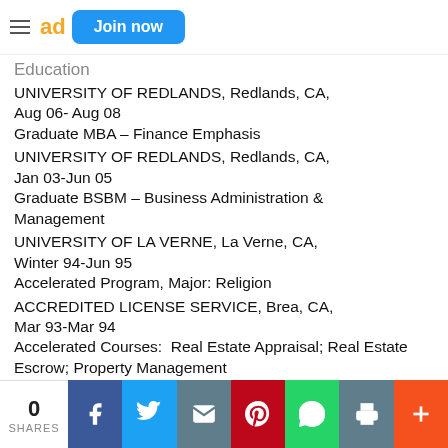Join now
Education
UNIVERSITY OF REDLANDS, Redlands, CA, Aug 06- Aug 08
Graduate MBA – Finance Emphasis
UNIVERSITY OF REDLANDS, Redlands, CA, Jan 03-Jun 05
Graduate BSBM – Business Administration & Management
UNIVERSITY OF LA VERNE, La Verne, CA, Winter 94-Jun 95
Accelerated Program, Major: Religion
ACCREDITED LICENSE SERVICE, Brea, CA, Mar 93-Mar 94
Accelerated Courses: Real Estate Appraisal; Real Estate Escrow; Property Management
CHAFFEY COLLEGE, Alta Loma, CA, Winter 91-Jan 97
0 SHARES